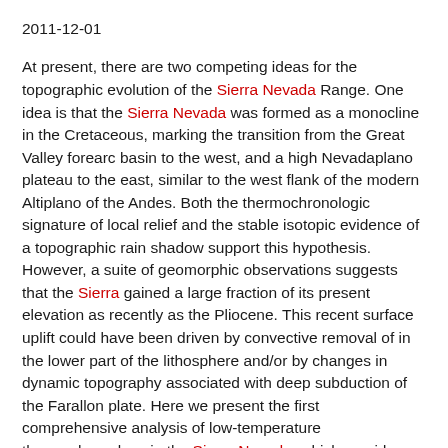2011-12-01
At present, there are two competing ideas for the topographic evolution of the Sierra Nevada Range. One idea is that the Sierra Nevada was formed as a monocline in the Cretaceous, marking the transition from the Great Valley forearc basin to the west, and a high Nevadaplano plateau to the east, similar to the west flank of the modern Altiplano of the Andes. Both the thermochronologic signature of local relief and the stable isotopic evidence of a topographic rain shadow support this hypothesis. However, a suite of geomorphic observations suggests that the Sierra gained a large fraction of its present elevation as recently as the Pliocene. This recent surface uplift could have been driven by convective removal of in the lower part of the lithosphere and/or by changes in dynamic topography associated with deep subduction of the Farallon plate. Here we present the first comprehensive analysis of low-temperature thermochronology in the Sierra Nevada, which provides a definitive solution, which indicates that both ideas are likely correct. Our analysis is distinguished by three new factors: The first is that we allow for separate evolutions for the local relief and the long-wavelength topography. Second, we use Al-in-Hb paleobarometry to constrain the initial depth of